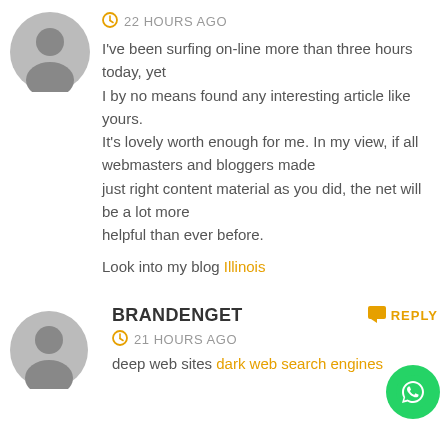[Figure (illustration): Gray circular avatar placeholder for anonymous user]
22 HOURS AGO
I've been surfing on-line more than three hours today, yet I by no means found any interesting article like yours. It's lovely worth enough for me. In my view, if all webmasters and bloggers made just right content material as you did, the net will be a lot more helpful than ever before.
Look into my blog Illinois
[Figure (illustration): Gray circular avatar placeholder for BRANDENGET user]
BRANDENGET
REPLY
21 HOURS AGO
[Figure (illustration): WhatsApp green circular button with phone icon]
deep web sites dark web search engines